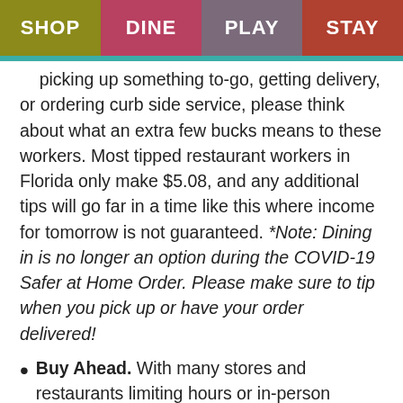SHOP | DINE | PLAY | STAY
picking up something to-go, getting delivery, or ordering curb side service, please think about what an extra few bucks means to these workers. Most tipped restaurant workers in Florida only make $5.08, and any additional tips will go far in a time like this where income for tomorrow is not guaranteed. *Note: Dining in is no longer an option during the COVID-19 Safer at Home Order. Please make sure to tip when you pick up or have your order delivered!
Buy Ahead. With many stores and restaurants limiting hours or in-person options, buying items in advance will help bot only you,